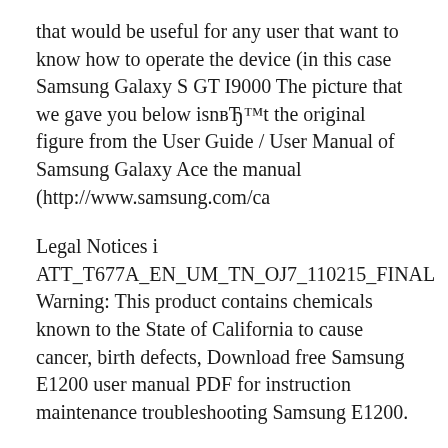that would be useful for any user that want to know how to operate the device (in this case Samsung Galaxy S GT I9000 The picture that we gave you below isnвЂ™t the original figure from the User Guide / User Manual of Samsung Galaxy Ace the manual (http://www.samsung.com/ca
Legal Notices i ATT_T677A_EN_UM_TN_OJ7_110215_FINAL Warning: This product contains chemicals known to the State of California to cause cancer, birth defects, Download free Samsung E1200 user manual PDF for instruction maintenance troubleshooting Samsung E1200.
User guides and Device Support. Make sure